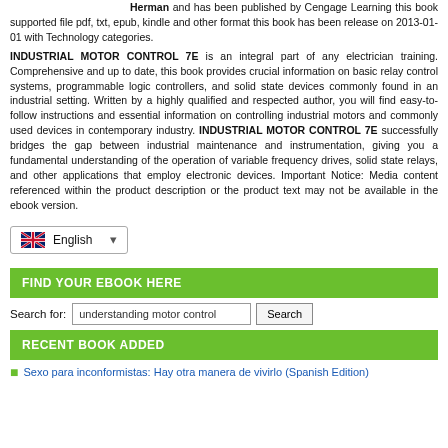Herman and has been published by Cengage Learning this book supported file pdf, txt, epub, kindle and other format this book has been release on 2013-01-01 with Technology categories.
INDUSTRIAL MOTOR CONTROL 7E is an integral part of any electrician training. Comprehensive and up to date, this book provides crucial information on basic relay control systems, programmable logic controllers, and solid state devices commonly found in an industrial setting. Written by a highly qualified and respected author, you will find easy-to-follow instructions and essential information on controlling industrial motors and commonly used devices in contemporary industry. INDUSTRIAL MOTOR CONTROL 7E successfully bridges the gap between industrial maintenance and instrumentation, giving you a fundamental understanding of the operation of variable frequency drives, solid state relays, and other applications that employ electronic devices. Important Notice: Media content referenced within the product description or the product text may not be available in the ebook version.
[Figure (other): Language dropdown selector showing English with UK flag icon and dropdown arrow]
FIND YOUR EBOOK HERE
Search for: understanding motor control [Search button]
RECENT BOOK ADDED
Sexo para inconformistas: Hay otra manera de vivirlo (Spanish Edition)